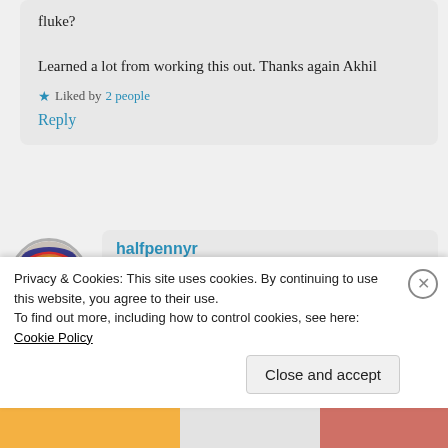fluke?
Learned a lot from working this out. Thanks again Akhil
★ Liked by 2 people
Reply
halfpennyr
October 24, 2019 at 2:21 pm
Hi jonraney, Thanks for your comments on this. Would you...
Privacy & Cookies: This site uses cookies. By continuing to use this website, you agree to their use.
To find out more, including how to control cookies, see here: Cookie Policy
Close and accept